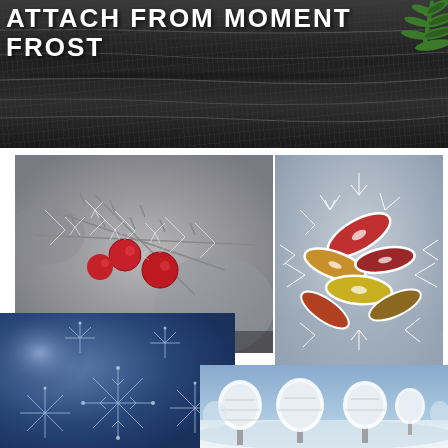[Figure (photo): Dark wood texture banner with white title text overlay and green pine branch in top-right corner. Title reads 'ATTACH FROM MOMENT FROST' or similar winter-themed text.]
[Figure (photo): Close-up of red berries and frost-covered thorny branches with ice crystals, winter nature photography]
1st Place: Laura Williams, Frosted Frost, Madison, Wisconsin, 31 December 2011
ID#10724
[Figure (photo): Frost-covered colorful autumn leaves (red, yellow, orange) coated in white frost crystals on blue-grey background]
[Figure (photo): Blue-toned macro photograph of frost crystals / ice formations on glass, star-burst pattern ice crystals]
[Figure (photo): Winter landscape with snow-covered white trees against a blue sky and frozen lake or river in background]